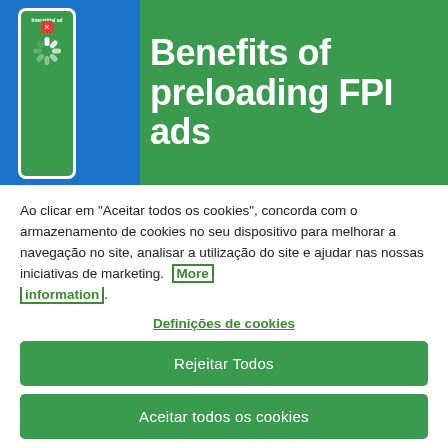[Figure (screenshot): Banner image showing a mobile phone with interstitial ad on a blue/green background, with white bold text reading 'Benefits of preloading FPI ads']
Ao clicar em "Aceitar todos os cookies", concorda com o armazenamento de cookies no seu dispositivo para melhorar a navegação no site, analisar a utilização do site e ajudar nas nossas iniciativas de marketing. More information.
Definições de cookies
Rejeitar Todos
Aceitar todos os cookies